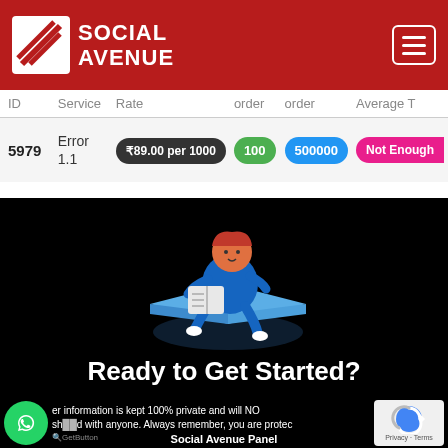[Figure (logo): Social Avenue logo with diagonal stripes icon and red background header with hamburger menu]
| ID | Service | Rate | order | order | Average T |
| --- | --- | --- | --- | --- | --- |
| 5979 | Error 1.1 | ₹89.00 per 1000 | 100 | 500000 | Not Enough |
[Figure (illustration): Person sitting on a blue floating platform reading a book, isometric style illustration on black background]
Ready to Get Started?
er information is kept 100% private and will NO shared with anyone. Always remember, you are protec
Social Avenue Panel